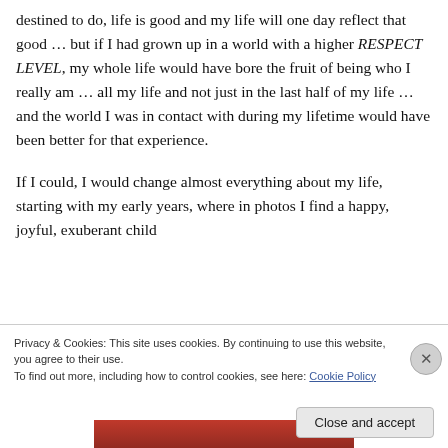destined to do, life is good and my life will one day reflect that good … but if I had grown up in a world with a higher RESPECT LEVEL, my whole life would have bore the fruit of being who I really am … all my life and not just in the last half of my life … and the world I was in contact with during my lifetime would have been better for that experience.
If I could, I would change almost everything about my life, starting with my early years, where in photos I find a happy, joyful, exuberant child
Privacy & Cookies: This site uses cookies. By continuing to use this website, you agree to their use.
To find out more, including how to control cookies, see here: Cookie Policy